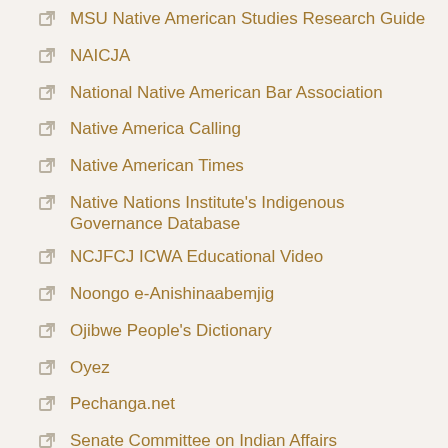MSU Native American Studies Research Guide
NAICJA
National Native American Bar Association
Native America Calling
Native American Times
Native Nations Institute's Indigenous Governance Database
NCJFCJ ICWA Educational Video
Noongo e-Anishinaabemjig
Ojibwe People's Dictionary
Oyez
Pechanga.net
Senate Committee on Indian Affairs
Sherman Alexie